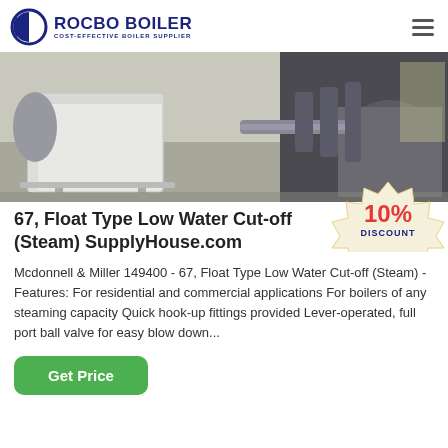ROCBO BOILER — COST-EFFECTIVE BOILER SUPPLIER
[Figure (photo): Industrial boiler room with a white box-shaped boiler unit in the foreground and large cylindrical industrial boilers in the background.]
67, Float Type Low Water Cut-off (Steam) SupplyHouse.com
Mcdonnell & Miller 149400 - 67, Float Type Low Water Cut-off (Steam) - Features: For residential and commercial applications For boilers of any steaming capacity Quick hook-up fittings provided Lever-operated, full port ball valve for easy blow down...